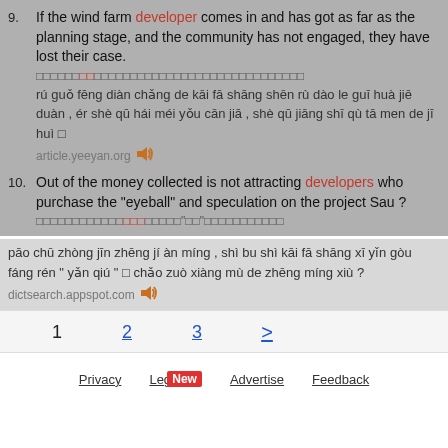9. If the wind farm developer comes in and has got as far as the planning stage, and the community has not engaged, they have lost their case.
□□□□□□□□□□□□□□□□□□□□□□□□□□□□□□□□□□□□□□□
rú guǒ fēng diàn chǎng de kāi fā shāng shēn rù dào le guī huà jiē duàn , ér shè qū hái méi yǒu cān jiā , shè qū jiāng shī qù tā men de jī huì □
article.yeeyan.org
10. Out of the money collected is not attracting developers who purchase the "eyeball" and speculation on the project Sau ?
□□□□□□□□□□□□□□□□□□□□□□"□□"□□□□□□□□□□□
pāo chū zhòng jīn zhēng jí àn míng , shì bu shì kāi fā shāng xī yǐn gòu fáng rén " yǎn qiú " □ chǎo zuò xiàng mù de zhēng míng xiù ?
dictsearch.appspot.com
1  2  3  >
Privacy   Legal New   Advertise   Feedback